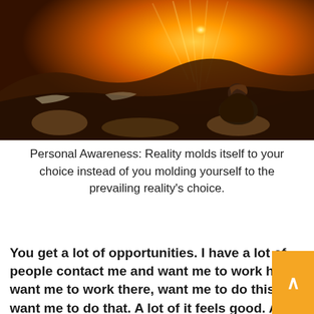[Figure (photo): Person sitting on rocks viewed from behind, looking at a dramatic golden sunset over a valley landscape with snow and trees]
Personal Awareness: Reality molds itself to your choice instead of you molding yourself to the prevailing reality's choice.
You get a lot of opportunities. I have a lot of people contact me and want me to work here, want me to work there, want me to do this, want me to do that. A lot of it feels good. A lot of it feels bad. Some of the bad ones could lead